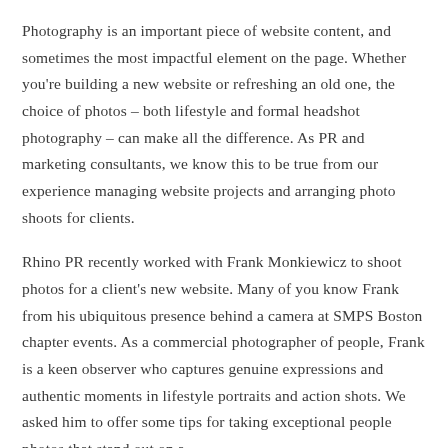Photography is an important piece of website content, and sometimes the most impactful element on the page. Whether you're building a new website or refreshing an old one, the choice of photos – both lifestyle and formal headshot photography – can make all the difference. As PR and marketing consultants, we know this to be true from our experience managing website projects and arranging photo shoots for clients.
Rhino PR recently worked with Frank Monkiewicz to shoot photos for a client's new website. Many of you know Frank from his ubiquitous presence behind a camera at SMPS Boston chapter events. As a commercial photographer of people, Frank is a keen observer who captures genuine expressions and authentic moments in lifestyle portraits and action shots. We asked him to offer some tips for taking exceptional people photos that stand out on a